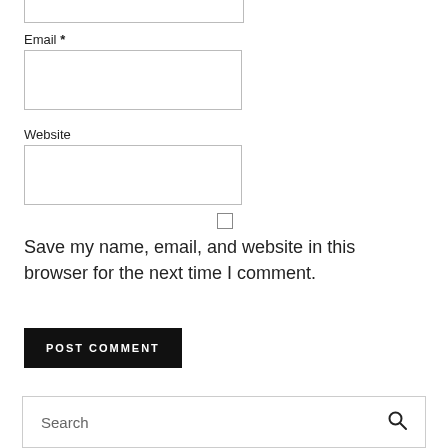Email *
[Figure (other): Empty text input box for Email field]
Website
[Figure (other): Empty text input box for Website field]
[Figure (other): Unchecked checkbox]
Save my name, email, and website in this browser for the next time I comment.
[Figure (other): POST COMMENT submit button (black background, white uppercase text)]
[Figure (other): Search input bar with search icon on the right]